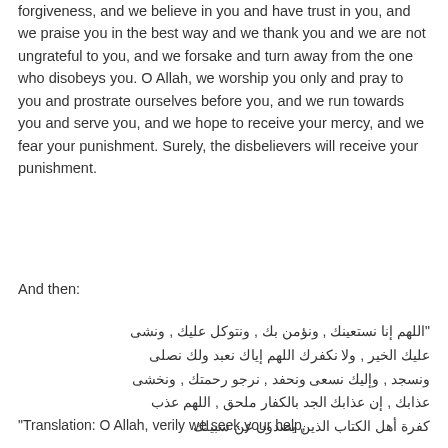forgiveness, and we believe in you and have trust in you, and we praise you in the best way and we thank you and we are not ungrateful to you, and we forsake and turn away from the one who disobeys you. O Allah, we worship you only and pray to you and prostrate ourselves before you, and we run towards you and serve you, and we hope to receive your mercy, and we fear your punishment. Surely, the disbelievers will receive your punishment.
And then:
"اللهم إنا نستعينك , ونؤمن بك , ونتوكل عليك , ونشى عليك الخير , ولا نكفرك اللهم إياك نعبد ولك نصلى ونسجد , وإليك نسعى ونحفد , نرجو رحمتك , ونخشى عذابك , إن عذابك الجد بالكفار ملحق , اللهم عذب كفرة أهل الكتاب الذين يصدون عن سبيلك"
"Translation: O Allah, verily we seek your help,